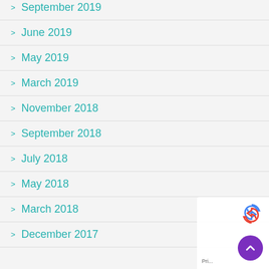September 2019
June 2019
May 2019
March 2019
November 2018
September 2018
July 2018
May 2018
March 2018
December 2017